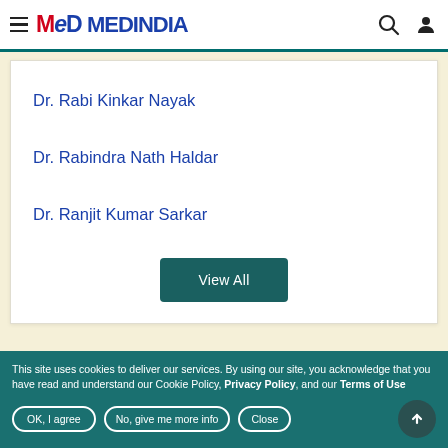MedinIndia
Dr. Rabi Kinkar Nayak
Dr. Rabindra Nath Haldar
Dr. Ranjit Kumar Sarkar
View All
This site uses cookies to deliver our services. By using our site, you acknowledge that you have read and understand our Cookie Policy, Privacy Policy, and our Terms of Use
OK, I agree | No, give me more info | Close